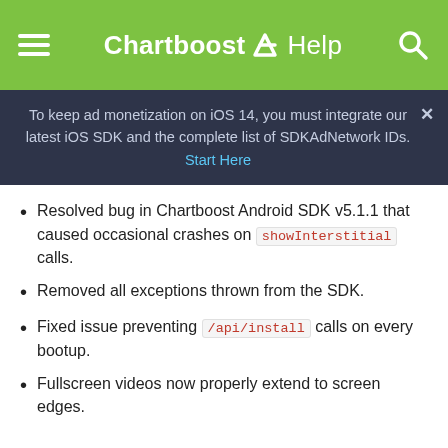Chartboost Help
To keep ad monetization on iOS 14, you must integrate our latest iOS SDK and the complete list of SDKAdNetwork IDs. Start Here
Resolved bug in Chartboost Android SDK v5.1.1 that caused occasional crashes on showInterstitial calls.
Removed all exceptions thrown from the SDK.
Fixed issue preventing /api/install calls on every bootup.
Fullscreen videos now properly extend to screen edges.